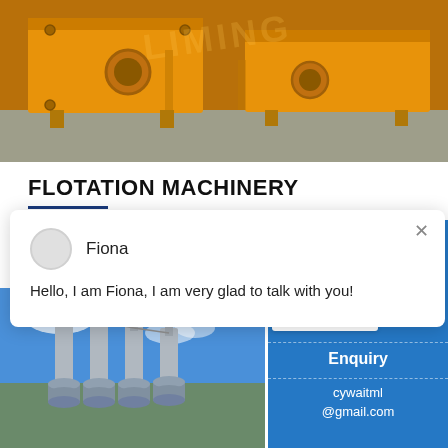[Figure (photo): Yellow industrial flotation machinery/equipment in a warehouse setting, with orange/yellow painted metal frames and round openings, on a concrete floor. Watermark text 'LIMING' visible.]
FLOTATION MACHINERY
[Figure (screenshot): Chat popup window showing avatar circle, name 'Fiona', and message 'Hello, I am Fiona, I am very glad to talk with you!' with a close X button.]
[Figure (photo): Industrial spiral classifier or flotation machinery with blue sky background, multiple spiral/screw units visible in an outdoor or semi-outdoor industrial setting.]
[Figure (screenshot): Chat widget on right side showing smiley face avatar with headphones, notification badge '1', 'Click me to chat >>' button, 'Enquiry' label, and email 'cywaitml@gmail.com'.]